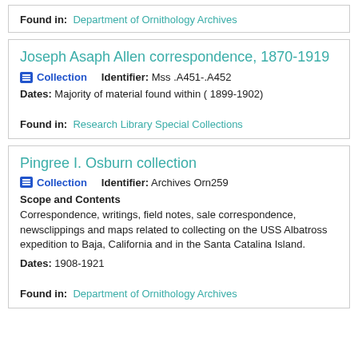Found in: Department of Ornithology Archives
Joseph Asaph Allen correspondence, 1870-1919
Collection   Identifier: Mss .A451-.A452
Dates: Majority of material found within ( 1899-1902)
Found in: Research Library Special Collections
Pingree I. Osburn collection
Collection   Identifier: Archives Orn259
Scope and Contents
Correspondence, writings, field notes, sale correspondence, newsclippings and maps related to collecting on the USS Albatross expedition to Baja, California and in the Santa Catalina Island.
Dates: 1908-1921
Found in: Department of Ornithology Archives